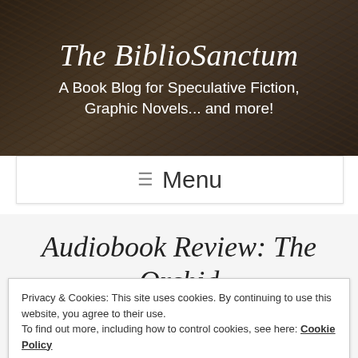The BiblioSanctum
A Book Blog for Speculative Fiction, Graphic Novels... and more!
≡ Menu
Audiobook Review: The Orchid Throne by Jeffe Kennedy,
Privacy & Cookies: This site uses cookies. By continuing to use this website, you agree to their use.
To find out more, including how to control cookies, see here: Cookie Policy
Close and accept